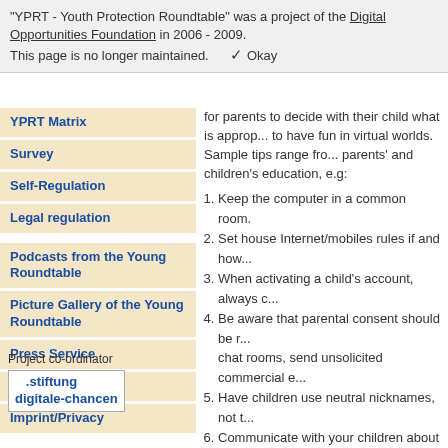"YPRT - Youth Protection Roundtable" was a project of the Digital Opportunities Foundation in 2006 - 2009. This page is no longer maintained. ✓ Okay
YPRT Matrix
Survey
Self-Regulation
Legal regulation
Podcasts from the Young Roundtable
Picture Gallery of the Young Roundtable
Press Service
RSS - Feed
Imprint/Privacy
for parents to decide with their child what is appropriate and how to have fun in virtual worlds. Sample tips range from parents' and children's education, e.g:
1. Keep the computer in a common room.
2. Set house Internet/mobiles rules if and how...
3. When activating a child's account, always c...
4. Be aware that parental consent should be r... chat rooms, send unsolicited commercial e...
5. Have children use neutral nicknames, not t...
6. Communicate with your children about thei... uncomfortable or threatened online.
For all 25 safety tips, please read the full report.
Available on the website since October 28, 2008
send via email    print
Project co-ordinator
.stiftung digitale-chancen